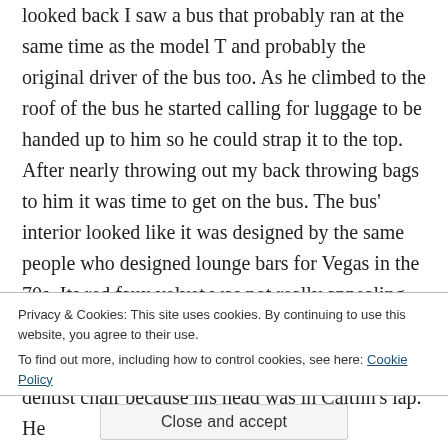looked back I saw a bus that probably ran at the same time as the model T and probably the original driver of the bus too. As he climbed to the roof of the bus he started calling for luggage to be handed up to him so he could strap it to the top. After nearly throwing out my back throwing bags to him it was time to get on the bus. The bus' interior looked like it was designed by the same people who designed lounge bars for Vegas in the 70s. Its red faux velvet was not really appealing but we thought oh well its a 6hr bus ride and we only paid 8 bucks we can't complain
Privacy & Cookies: This site uses cookies. By continuing to use this website, you agree to their use.
To find out more, including how to control cookies, see here: Cookie Policy
Close and accept
dentist chair because his head was in Caitlin's lap. He